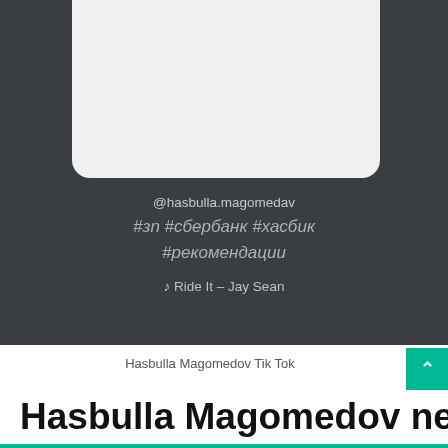[Figure (screenshot): TikTok video screenshot embedded in a dark background phone/app UI. The top portion shows a light gray video frame area. Below it on a dark background shows the TikTok account handle @hasbulla.magomedav, hashtags in italic Cyrillic (#зп #сбербанк #хасбик #рекомендации), and music note with song title 'Ride It — Jay Sean'.]
Hasbulla Magomedov Tik Tok
Hasbulla Magomedov net worth